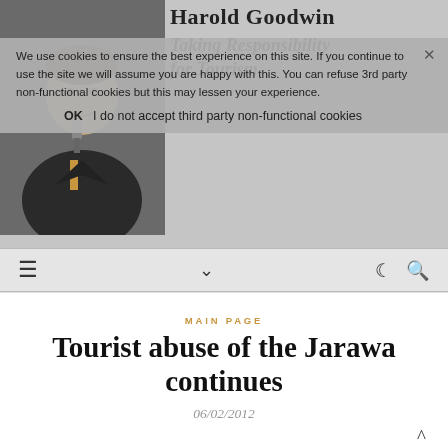Harold Goodwin — Taking Responsibility for Tourism
[Figure (photo): Photo of Harold Goodwin speaking into a microphone]
We use cookies to ensure the best experience on this site. If you continue to use the site we will assume you are happy with this. You can refuse 3rd party non-functional cookies but this may lessen your experience.
OK   I do not accept third party non-functional cookies
MAIN PAGE
Tourist abuse of the Jarawa continues
06/02/2012
I wrote back in December about Tourism Abusing Human Rights and in partiular about the tourists treat the indigenous Jarawa of India's Andaman Islands.